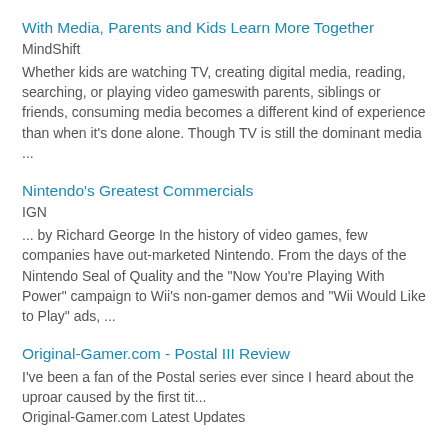With Media, Parents and Kids Learn More Together
MindShift
Whether kids are watching TV, creating digital media, reading, searching, or playing video gameswith parents, siblings or friends, consuming media becomes a different kind of experience than when it's done alone. Though TV is still the dominant media ...
Nintendo's Greatest Commercials
IGN
... by Richard George In the history of video games, few companies have out-marketed Nintendo. From the days of the Nintendo Seal of Quality and the "Now You're Playing With Power" campaign to Wii's non-gamer demos and "Wii Would Like to Play" ads, ...
Original-Gamer.com - Postal III Review
I've been a fan of the Postal series ever since I heard about the uproar caused by the first tit...
Original-Gamer.com Latest Updates